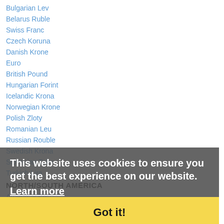Bulgarian Lev
Belarus Ruble
Swiss Franc
Czech Koruna
Danish Krone
Euro
British Pound
Hungarian Forint
Icelandic Krona
Norwegian Krone
Polish Zloty
Romanian Leu
Russian Rouble
Swedish Krona
Slovenian Tolar
Turkish Lira
NORTH/SOUTH AMERICA
Argentine Peso
Barbadian Dollar
Bermuda Dollar
Brazilian Real
Bahamian Dollar
This website uses cookies to ensure you get the best experience on our website. Learn more Got it!